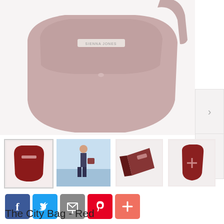[Figure (photo): Main product image of a mauve/dusty pink saddle-style handbag with silver hardware and brand name plate, shown on white background. Navigation arrows visible on right side.]
[Figure (photo): Thumbnail 1: Dark red/burgundy version of the same city bag, front view]
[Figure (photo): Thumbnail 2: Lifestyle photo of woman carrying the bag at the beach]
[Figure (photo): Thumbnail 3: Close-up of the bag showing clasp/hardware detail in dark red]
[Figure (photo): Thumbnail 4: Side angle view of the dark red city bag]
[Figure (infographic): Social sharing buttons: Facebook (blue), Twitter (light blue), Email (grey), Pinterest (red), Plus/More (salmon)]
The City Bag - Red